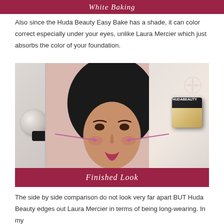White Baking
Also since the Huda Beauty Easy Bake has a shade, it can color correct especially under your eyes, unlike Laura Mercier which just absorbs the color of your foundation.
[Figure (photo): A woman wearing a black hijab with makeup applied, shown with a Laura Mercier loose powder product on the left side and a Huda Beauty compact powder on the right side. Pink arrows point to the area under her eyes indicating where the products are applied. Dark red banner at top of image.]
Finished Look
The side by side comparison do not look very far apart BUT Huda Beauty edges out Laura Mercier in terms of being long-wearing. In my